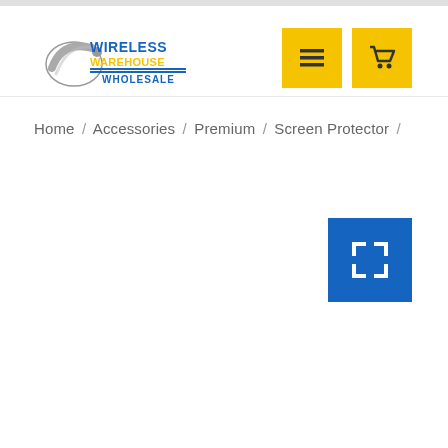[Figure (logo): Wireless Warehouse Wholesale logo with phone/signal icon and blue/gold text]
[Figure (other): Yellow hamburger menu button]
[Figure (other): Yellow shopping cart button]
Home / Accessories / Premium / Screen Protector /
[Figure (other): Blue expand/fullscreen button with white bracket corners icon]